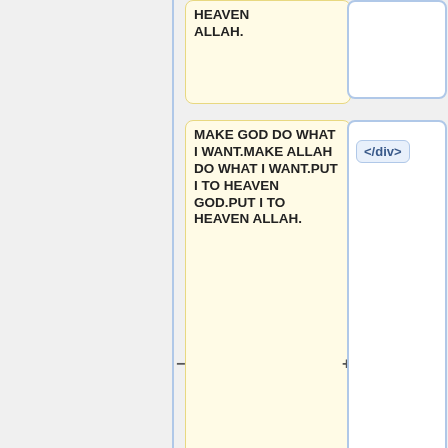HEAVEN ALLAH.
MAKE GOD DO WHAT I WANT.MAKE ALLAH DO WHAT I WANT.PUT I TO HEAVEN GOD.PUT I TO HEAVEN ALLAH.
</div>
MAKE GOD DO WHAT I WANT.MAKE ALLAH DO WHAT I WANT.PUT I TO HEAVEN GOD.PUT I TO HEAVEN ALLAH.